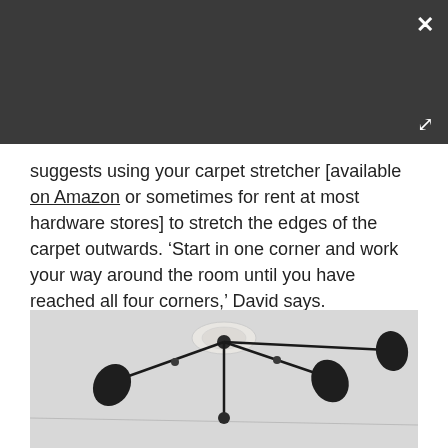[Figure (screenshot): Dark gray overlay bar at top of page with a white × close button at top right and a white expand/fullscreen icon below it]
suggests using your carpet stretcher [available on Amazon or sometimes for rent at most hardware stores] to stretch the edges of the carpet outwards. 'Start in one corner and work your way around the room until you have reached all four corners,' David says.
[Figure (photo): Photo of a mid-century modern ceiling light fixture with black spider arms and cone shades, viewed from below against a light gray ceiling]